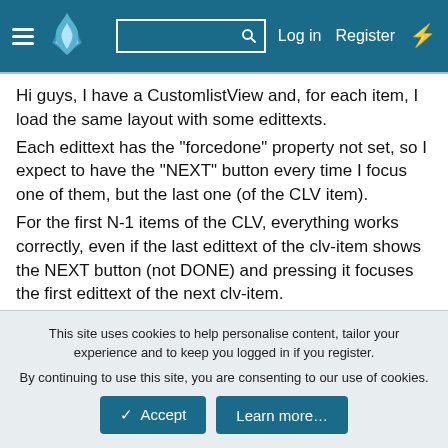GitLab navigation header with hamburger menu, flame logo, search box, Log in, Register, and flash icon
Hi guys, I have a CustomlistView and, for each item, I load the same layout with some edittexts.
Each edittext has the "forcedone" property not set, so I expect to have the "NEXT" button every time I focus one of them, but the last one (of the CLV item).
For the first N-1 items of the CLV, everything works correctly, even if the last edittext of the clv-item shows the NEXT button (not DONE) and pressing it focuses the first edittext of the next clv-item.
It is not exactly what I want, but I can accept it.
In the last row, unexpectedly, no matters wich edittext has the focus, ALL of them has the DONE button, so when I press it, the keyboard is hidden and the focus doesn't move to the next edittext.
This site uses cookies to help personalise content, tailor your experience and to keep you logged in if you register.
By continuing to use this site, you are consenting to our use of cookies.